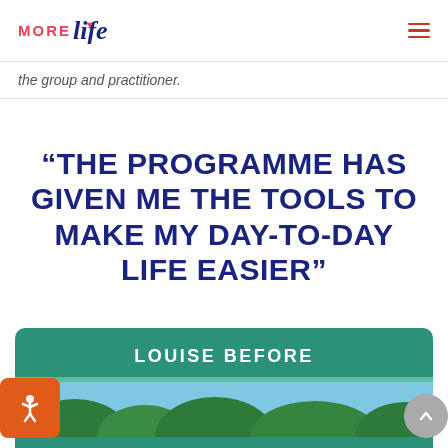MORE Life (logo) — navigation menu
the group and practitioner.
“THE PROGRAMME HAS GIVEN ME THE TOOLS TO MAKE MY DAY-TO-DAY LIFE EASIER”
[Figure (photo): Green card with white text LOUISE BEFORE and a nature/outdoor photo below]
[Figure (other): Orange accessibility icon button in bottom left]
[Figure (other): Grey scroll-to-top circular button in bottom right]